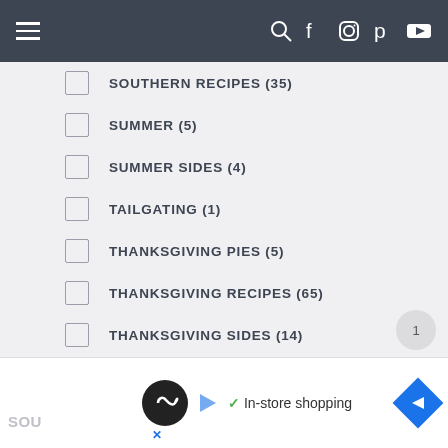Navigation bar with hamburger menu and social icons
SOUTHERN RECIPES (35)
SUMMER (5)
SUMMER SIDES (4)
TAILGATING (1)
THANKSGIVING PIES (5)
THANKSGIVING RECIPES (65)
THANKSGIVING SIDES (14)
THANKSGIVING SPECIALS (9)
TURKEY RECIPES (6)
WINTER (6)
In-store shopping advertisement bar